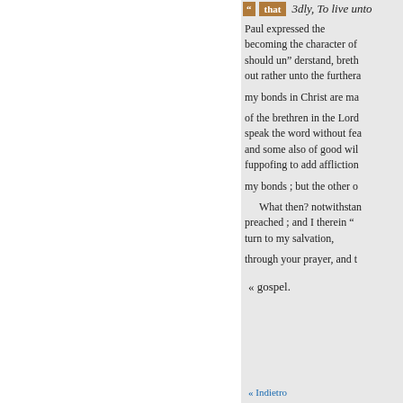“ that   3dly, To live unto
Paul expressed the becoming the character of should un” derstand, breth out rather unto the furthera my bonds in Christ are ma of the brethren in the Lord speak the word without fea and some also of good wil fuppofing to add affliction my bonds ; but the other o
What then? notwithstan preached ; and I therein “ turn to my salvation,
through your prayer, and t
« gospel.
« Indietro